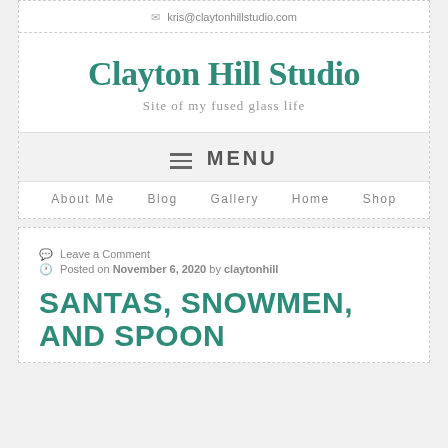kris@claytonhillstudio.com
Clayton Hill Studio
Site of my fused glass life
MENU
About Me   Blog   Gallery   Home   Shop
Leave a Comment
Posted on November 6, 2020 by claytonhill
SANTAS, SNOWMEN, AND SPOON